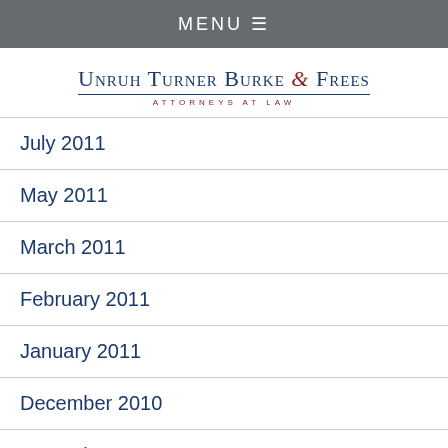MENU ☰
[Figure (logo): Unruh Turner Burke & Frees – Attorneys at Law law firm logo with firm name in blue small caps, ampersand in red italic, underline, and tagline in red spaced caps below]
July 2011
May 2011
March 2011
February 2011
January 2011
December 2010
November 2010
October 2010
September 2010